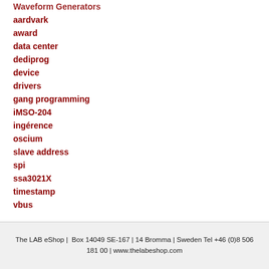Waveform Generators
aardvark
award
data center
dediprog
device
drivers
gang programming
iMSO-204
ingérence
oscium
slave address
spi
ssa3021X
timestamp
vbus
The LAB eShop |  Box 14049 SE-167 | 14 Bromma | Sweden Tel +46 (0)8 506 181 00 | www.thelabeshop.com